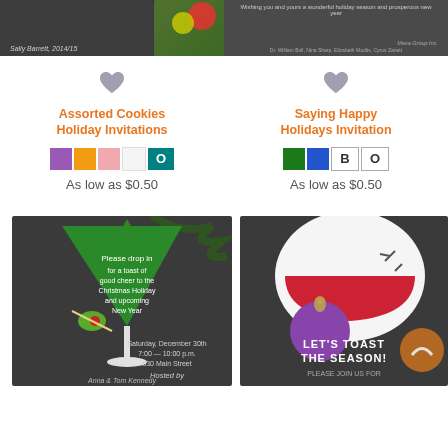[Figure (photo): Top-left product card partial view: chalkboard holiday invitation with colorful ornaments]
[Figure (photo): Top-right product card partial view: chalkboard holiday card with text and signatures]
[Figure (illustration): Heart favorite icon for left product]
Assorted Cookies Holiday Invitations
[Figure (illustration): Color swatches: purple, orange, pink, white, teal O button]
As low as $0.50
[Figure (illustration): Heart favorite icon for right product]
Saying Happy Holidays Invitation
[Figure (illustration): Color swatches: green, blue, B button, O button]
As low as $0.50
[Figure (photo): Bottom-left: chalkboard invitation with green martini glass and olive, Christmas holiday party text]
[Figure (photo): Bottom-right: chalkboard invitation with wine glass and Christmas ornament, Let's Toast the Season text]